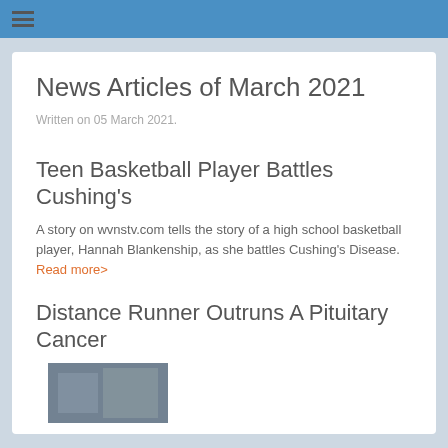≡
News Articles of March 2021
Written on 05 March 2021.
Teen Basketball Player Battles Cushing's
A story on wvnstv.com tells the story of a high school basketball player, Hannah Blankenship, as she battles Cushing's Disease. Read more>
Distance Runner Outruns A Pituitary Cancer